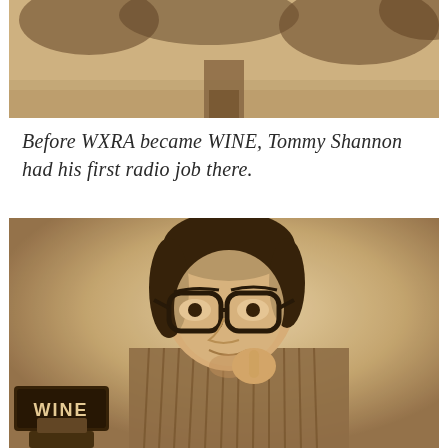[Figure (photo): Partial vintage sepia-toned photograph at top of page showing a person, cropped so only lower body/legs visible]
Before WXRA became WINE, Tommy Shannon had his first radio job there.
[Figure (photo): Vintage sepia-toned photograph of a man with dark-rimmed glasses, wearing a striped shirt, resting his chin on his hand thoughtfully, with a WINE radio station microphone sign visible in the lower left corner]